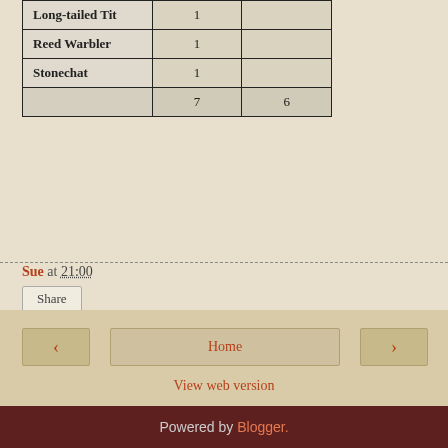|  |  |  |
| --- | --- | --- |
| Long-tailed Tit | 1 |  |
| Reed Warbler | 1 |  |
| Stonechat | 1 |  |
|  | 7 | 6 |
Sue at 21:00
Share
◄  Home  ►  View web version  Powered by Blogger.